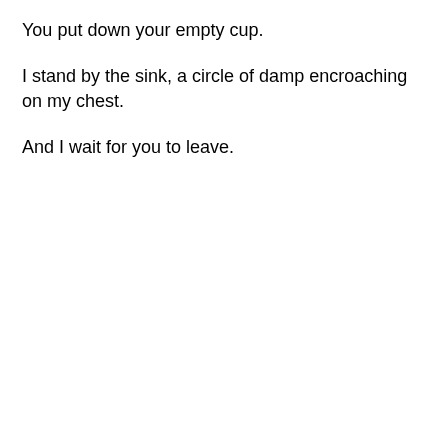You put down your empty cup.
I stand by the sink, a circle of damp encroaching on my chest.
And I wait for you to leave.
Privacy & Cookies: This site uses cookies. By continuing to use this website, you agree to their use.
To find out more, including how to control cookies, see here: Cookie Policy
Close and accept